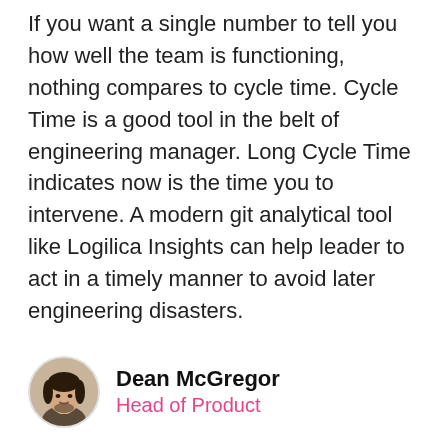If you want a single number to tell you how well the team is functioning, nothing compares to cycle time. Cycle Time is a good tool in the belt of engineering manager. Long Cycle Time indicates now is the time you to intervene. A modern git analytical tool like Logilica Insights can help leader to act in a timely manner to avoid later engineering disasters.
Dean McGregor
Head of Product